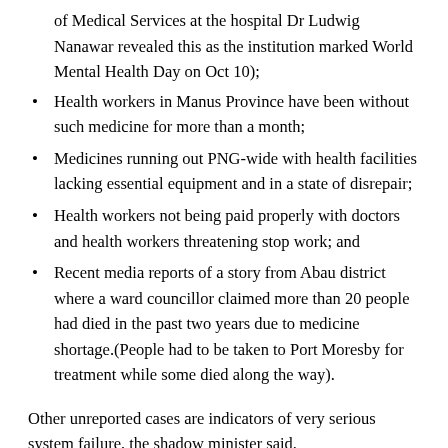of Medical Services at the hospital Dr Ludwig Nanawar revealed this as the institution marked World Mental Health Day on Oct 10);
Health workers in Manus Province have been without such medicine for more than a month;
Medicines running out PNG-wide with health facilities lacking essential equipment and in a state of disrepair;
Health workers not being paid properly with doctors and health workers threatening stop work; and
Recent media reports of a story from Abau district where a ward councillor claimed more than 20 people had died in the past two years due to medicine shortage.(People had to be taken to Port Moresby for treatment while some died along the way).
Other unreported cases are indicators of very serious system failure, the shadow minister said.
Yopyyopy noted that from the 2015 to 2017 budget, health